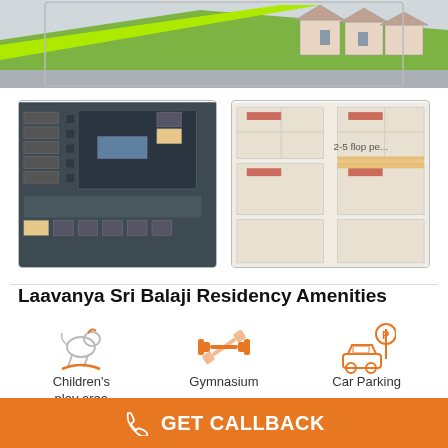[Figure (photo): Top property exterior photo of Laavanya Sri Balaji Residency showing houses with green landscaping]
[Figure (engineering-diagram): Left floor plan thumbnail showing dark-colored architectural layout]
[Figure (engineering-diagram): Right floor plan thumbnail showing multiple unit layouts in light beige tones]
Laavanya Sri Balaji Residency Amenities
[Figure (infographic): Children's play area icon - rocking horse in orange/gray]
Children's play area
[Figure (infographic): Gymnasium icon - dumbbells in orange]
Gymnasium
[Figure (infographic): Car Parking icon - car with P sign in orange]
Car Parking
[Figure (infographic): Closed Car icon - garage/car shed in gray/orange]
Closed Car
[Figure (infographic): Party Hall icon - party popper/confetti in orange]
Party Hall
[Figure (infographic): 24X7 Water icon - tap with drop in orange]
24X7 Water
GET CALLBACK